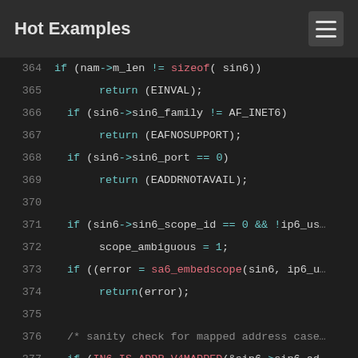Hot Examples
[Figure (screenshot): Code viewer showing C source code lines 364-382, syntax highlighted on dark background. Keywords in cyan, function names in pink/red, comments in grey.]